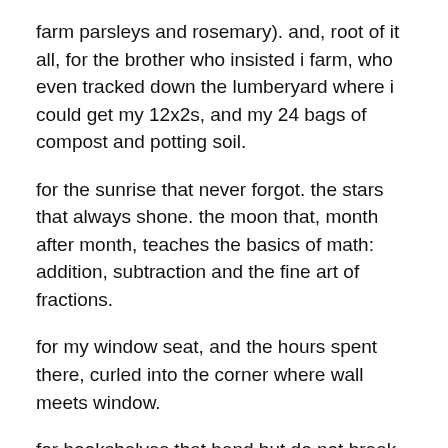farm parsleys and rosemary). and, root of it all, for the brother who insisted i farm, who even tracked down the lumberyard where i could get my 12x2s, and my 24 bags of compost and potting soil.
for the sunrise that never forgot. the stars that always shone. the moon that, month after month, teaches the basics of math: addition, subtraction and the fine art of fractions.
for my window seat, and the hours spent there, curled into the corner where wall meets window.
for bookshelves that bend but do not break.
for that rare string of summer days when each night for two whole weeks, the four of us — a complete set in this house — fell asleep under the same single roof, awoke to